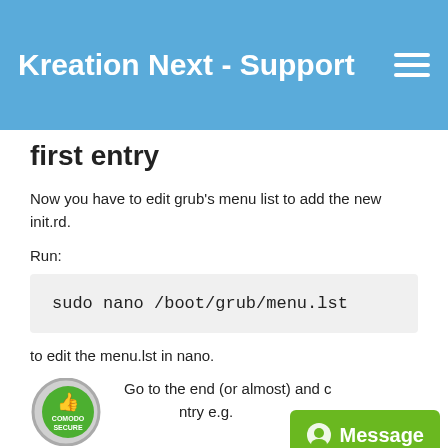Kreation Next - Support
first entry
Now you have to edit grub's menu list to add the new init.rd.
Run:
sudo nano /boot/grub/menu.lst
to edit the menu.lst in nano.
Go to the end (or almost) and copy the existing entry e.g.